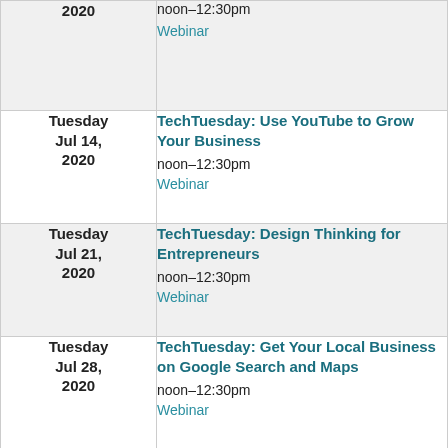| Date | Event |
| --- | --- |
| 2020 | noon–12:30pm
Webinar |
| Tuesday
Jul 14,
2020 | TechTuesday: Use YouTube to Grow Your Business
noon–12:30pm
Webinar |
| Tuesday
Jul 21,
2020 | TechTuesday: Design Thinking for Entrepreneurs
noon–12:30pm
Webinar |
| Tuesday
Jul 28,
2020 | TechTuesday: Get Your Local Business on Google Search and Maps
noon–12:30pm
Webinar |